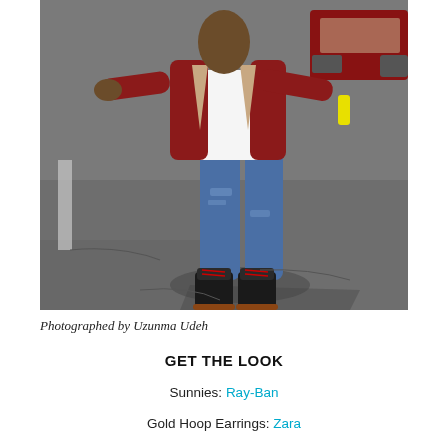[Figure (photo): A person wearing a red/maroon leather jacket, white top, ripped blue jeans, and black lace-up boots with red laces, standing in a parking lot with arms outstretched, holding a yellow item in one hand. A car is visible in the background.]
Photographed by Uzunma Udeh
GET THE LOOK
Sunnies: Ray-Ban
Gold Hoop Earrings: Zara